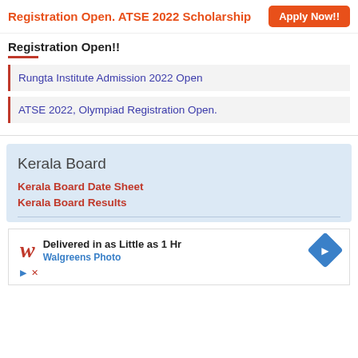Registration Open. ATSE 2022 Scholarship   Apply Now!!
Registration Open!!
Rungta Institute Admission 2022 Open
ATSE 2022, Olympiad Registration Open.
Kerala Board
Kerala Board Date Sheet
Kerala Board Results
[Figure (screenshot): Walgreens Photo advertisement: Delivered in as Little as 1 Hr, Walgreens Photo, with logo and direction arrow icon]